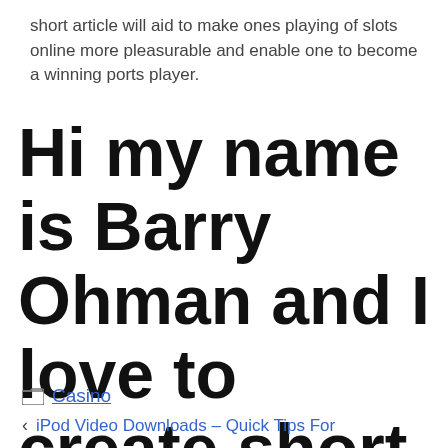short article will aid to make ones playing of slots online more pleasurable and enable one to become a winning ports player.
Hi my name is Barry Ohman and I love to create short articles about onli
Casino
< iPod Video Downloads – Quick Tips For